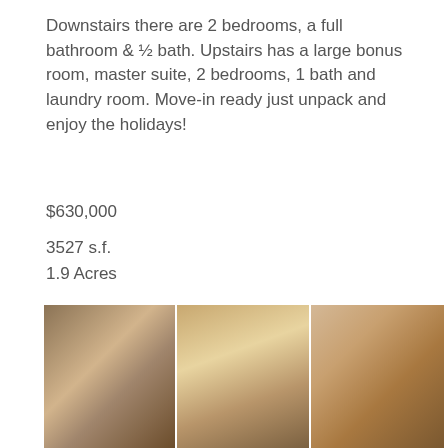Downstairs there are 2 bedrooms, a full bathroom & ½ bath. Upstairs has a large bonus room, master suite, 2 bedrooms, 1 bath and laundry room. Move-in ready just unpack and enjoy the holidays!
$630,000
1.9 Acres
5 Bedrooms
3.5 Bathrooms
3527 s.f.
[Figure (photo): Three side-by-side interior photos of a house: staircase with white balusters and dark wood railing with wall art, second staircase view with chandelier and framed pictures, and a hallway with large dark-framed artwork and curtains.]